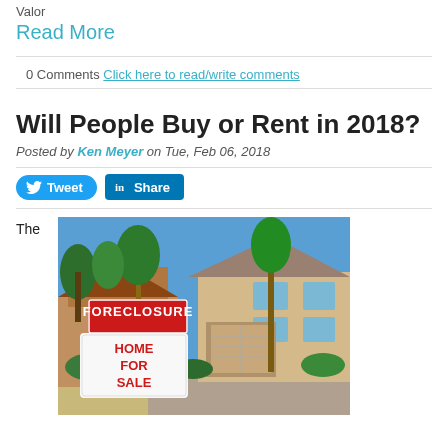Valor
Read More
0 Comments Click here to read/write comments
Will People Buy or Rent in 2018?
Posted by Ken Meyer on Tue, Feb 06, 2018
[Figure (other): Social share buttons: Tweet (Twitter) and Share (LinkedIn)]
The
[Figure (photo): Photo of a house with a red and white Foreclosure sign and a Home For Sale sign in front, with palm trees and suburban homes in the background.]